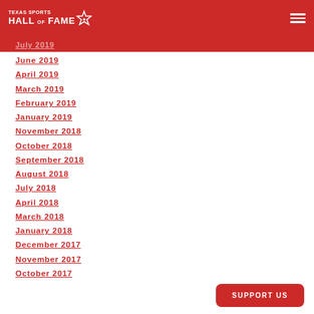Texas Sports Hall of Fame
July 2019
June 2019
April 2019
March 2019
February 2019
January 2019
November 2018
October 2018
September 2018
August 2018
July 2018
April 2018
March 2018
January 2018
December 2017
November 2017
October 2017